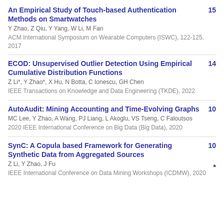An Empirical Study of Touch-based Authentication Methods on Smartwatches | 15 | Y Zhao, Z Qiu, Y Yang, W Li, M Fan | ACM International Symposium on Wearable Computers (ISWC), 122-125, 2017
ECOD: Unsupervised Outlier Detection Using Empirical Cumulative Distribution Functions | 14 | Z Li*, Y Zhao*, X Hu, N Botta, C Ionescu, GH Chen | IEEE Transactions on Knowledge and Data Engineering (TKDE), 2022
AutoAudit: Mining Accounting and Time-Evolving Graphs | 10 | MC Lee, Y Zhao, A Wang, PJ Liang, L Akoglu, VS Tseng, C Faloutsos | 2020 IEEE International Conference on Big Data (Big Data), 2020
SynC: A Copula based Framework for Generating Synthetic Data from Aggregated Sources | 10 * | Z Li, Y Zhao, J Fu | IEEE International Conference on Data Mining Workshops (ICDMW), 2020